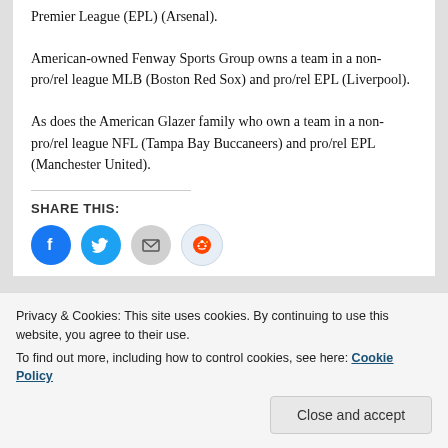Premier League (EPL) (Arsenal).
American-owned Fenway Sports Group owns a team in a non-pro/rel league MLB (Boston Red Sox) and pro/rel EPL (Liverpool).
As does the American Glazer family who own a team in a non-pro/rel league NFL (Tampa Bay Buccaneers) and pro/rel EPL (Manchester United).
SHARE THIS:
[Figure (other): Social share icons: Facebook (blue circle), Twitter (blue circle), Email (gray circle), Reddit (light blue circle)]
Privacy & Cookies: This site uses cookies. By continuing to use this website, you agree to their use.
To find out more, including how to control cookies, see here: Cookie Policy
Close and accept